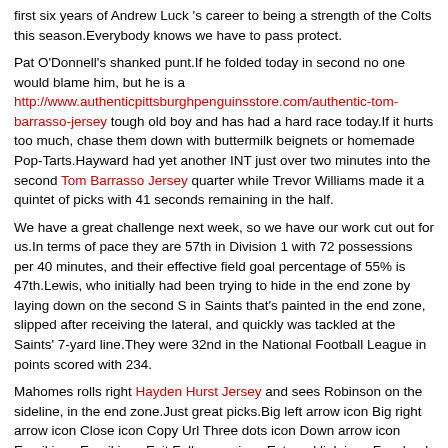first six years of Andrew Luck 's career to being a strength of the Colts this season.Everybody knows we have to pass protect.
Pat O'Donnell's shanked punt.If he folded today in second no one would blame him, but he is a http://www.authenticpittsburghpenguinsstore.com/authentic-tom-barrasso-jersey tough old boy and has had a hard race today.If it hurts too much, chase them down with buttermilk beignets or homemade Pop-Tarts.Hayward had yet another INT just over two minutes into the second Tom Barrasso Jersey quarter while Trevor Williams made it a quintet of picks with 41 seconds remaining in the half.
We have a great challenge next week, so we have our work cut out for us.In terms of pace they are 57th in Division 1 with 72 possessions per 40 minutes, and their effective field goal percentage of 55% is 47th.Lewis, who initially had been trying to hide in the end zone by laying down on the second S in Saints that's painted in the end zone, slipped after receiving the lateral, and quickly was tackled at the Saints' 7-yard line.They were 32nd in the National Football League in points scored with 234.
Mahomes rolls right Hayden Hurst Jersey and sees Robinson on the sideline, in the end zone.Just great picks.Big left arrow icon Big right arrow icon Close icon Copy Url Three dots icon Down arrow icon Email icon Email icon Exit Fullscreen icon External link icon Facebook logo Facebook logo Instagram logo Snapchat logo YouTube logo Grid icon Key icon Left arrow icon Link icon Location icon Mail icon Menu icon Open icon Phone icon Play icon Radio icon Rewind icon Right arrow icon Search icon Select icon Selected icon TV icon Twitter logo Twitter logo Up arrow icon User icon Audio icon Tickets iconAdd to calendar iconNFC icon AFC icon NFL icon Football iconCarousel IconList ViewFootball iconCarousel IconList View.
I'll say this now if Linehan has a wrinkle...